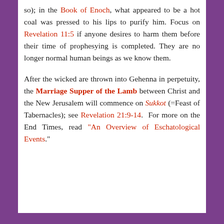so); in the Book of Enoch, what appeared to be a hot coal was pressed to his lips to purify him. Focus on Revelation 11:5 if anyone desires to harm them before their time of prophesying is completed. They are no longer normal human beings as we know them.
After the wicked are thrown into Gehenna in perpetuity, the Marriage Supper of the Lamb between Christ and the New Jerusalem will commence on Sukkot (=Feast of Tabernacles); see Revelation 21:9-14. For more on the End Times, read "An Overview of Eschatological Events."
Privacy & Cookies: This site uses cookies. By continuing to use this website, you agree to their use. To find out more, including how to control cookies, see here: Cookie Policy
Close and accept